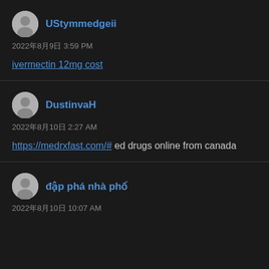UStymmedgeii
2022年8月9日 3:59 PM
ivermectin 12mg cost
DustinvaH
2022年8月10日 2:27 AM
https://medrxfast.com/# ed drugs online from canada
đập phá nhà phố
2022年8月10日 10:07 AM